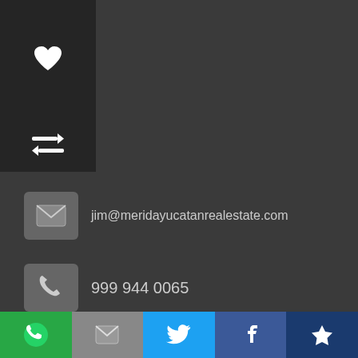[Figure (screenshot): Dark sidebar with heart icon and compare/transfer icon]
jim@meridayucatanrealestate.com
999 944 0065
[Figure (logo): WhatsApp, Skype, Facebook, and RSS social media icons/logos]
© 2022 Merida Yucatan Real Estate
[Figure (screenshot): Bottom navigation bar with WhatsApp (green), email (gray), Twitter (blue), Facebook (dark blue), and crown/bookmark (navy) buttons]